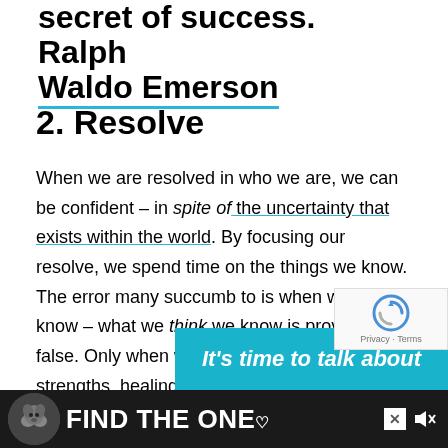secret of success. — Ralph Waldo Emerson
2. Resolve
When we are resolved in who we are, we can be confident – in spite of the uncertainty that exists within the world. By focusing our resolve, we spend time on the things we know. The error many succumb to is when what we know – what we think we know is proven to be false. Only when we focus on our inner strengths, healing, gifts, and are we fully ready for whatever comes next!
[Figure (other): Advertisement banner: It's time to talk about]
[Figure (other): Bottom ad bar: FIND THE ONE with dog image]